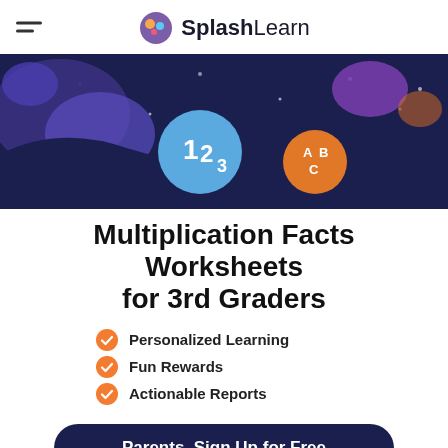SplashLearn
[Figure (illustration): Dark navy hero banner with colorful blobs, stars, a blue circle with '123' and an orange circle with 'ABC' letters]
Multiplication Facts Worksheets for 3rd Graders
Personalized Learning
Fun Rewards
Actionable Reports
Parents, Sign Up for Free
Filter